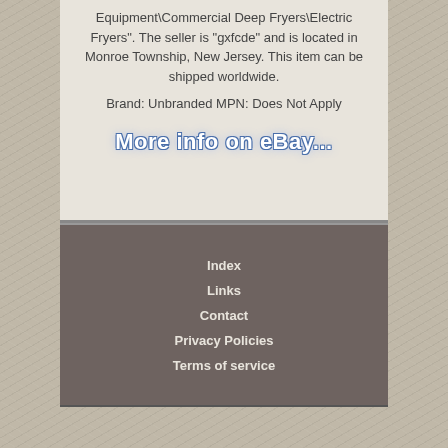Equipment\Commercial Deep Fryers\Electric Fryers". The seller is "gxfcde" and is located in Monroe Township, New Jersey. This item can be shipped worldwide.
Brand: Unbranded MPN: Does Not Apply
[Figure (other): More info on eBay... link button]
Index
Links
Contact
Privacy Policies
Terms of service